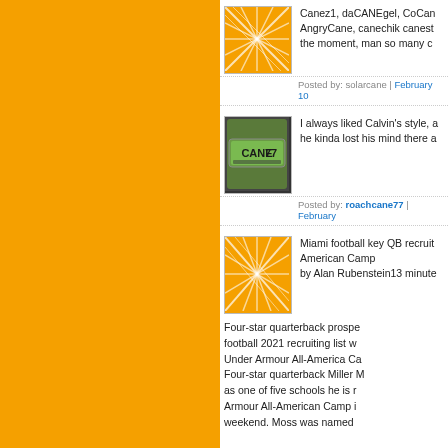[Figure (illustration): Orange sidebar background]
Canez1, daCANEgel, CoCan... AngryCane, canechik canest... the moment, man so many c...
Posted by: solarcane | February 10
[Figure (photo): Florida license plate reading CANE 77]
I always liked Calvin's style, a... he kinda lost his mind there a...
Posted by: roachcane77 | February...
[Figure (illustration): Orange abstract pattern avatar]
Miami football key QB recruit... American Camp by Alan Rubenstein13 minute...
Four-star quarterback prospe... football 2021 recruiting list w... Under Armour All-America Ca... Four-star quarterback Miller M... as one of five schools he is r... Armour All-American Camp i... weekend. Moss was named...